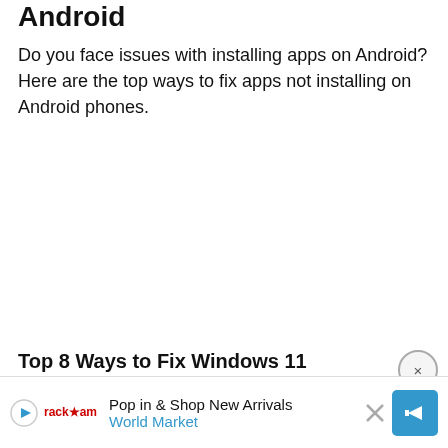Android
Do you face issues with installing apps on Android? Here are the top ways to fix apps not installing on Android phones.
Top 8 Ways to Fix Windows 11 Updates Not Downloading or...
Pop in & Shop New Arrivals
World Market